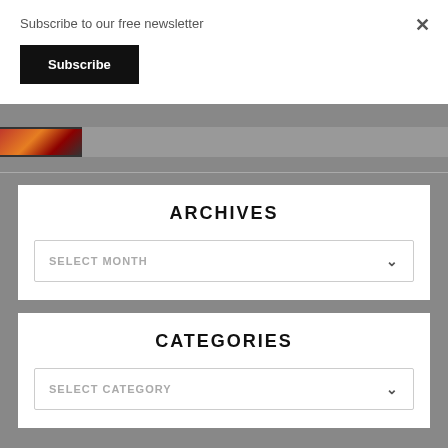Subscribe to our free newsletter
Subscribe
[Figure (photo): Small thumbnail image with dark reddish-orange content, possibly food or art]
ARCHIVES
SELECT MONTH
CATEGORIES
SELECT CATEGORY